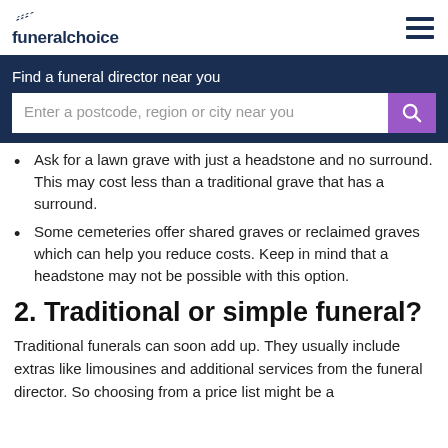funeralchoice
Find a funeral director near you
Enter a postcode, region or city near you
Ask for a lawn grave with just a headstone and no surround. This may cost less than a traditional grave that has a surround.
Some cemeteries offer shared graves or reclaimed graves which can help you reduce costs. Keep in mind that a headstone may not be possible with this option.
2. Traditional or simple funeral?
Traditional funerals can soon add up. They usually include extras like limousines and additional services from the funeral director. So choosing from a price list might be a